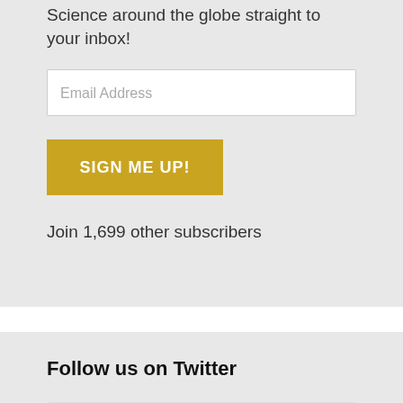Science around the globe straight to your inbox!
[Figure (screenshot): Email address input field with placeholder text 'Email Address']
[Figure (screenshot): Golden/yellow 'SIGN ME UP!' button]
Join 1,699 other subscribers
Follow us on Twitter
Tweets from @LabArchives